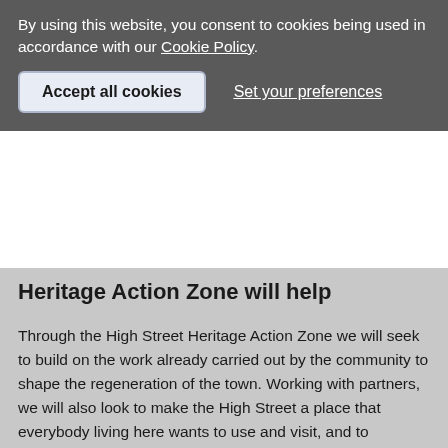By using this website, you consent to cookies being used in accordance with our Cookie Policy.
Accept all cookies    Set your preferences
Heritage Action Zone will help
Through the High Street Heritage Action Zone we will seek to build on the work already carried out by the community to shape the regeneration of the town. Working with partners, we will also look to make the High Street a place that everybody living here wants to use and visit, and to increase residential accommodation within the town centre.
Improvements will be made to the paving and highways, creating a 'people first zone', as well as funding design guidance to ensure future development improves the area's historic character